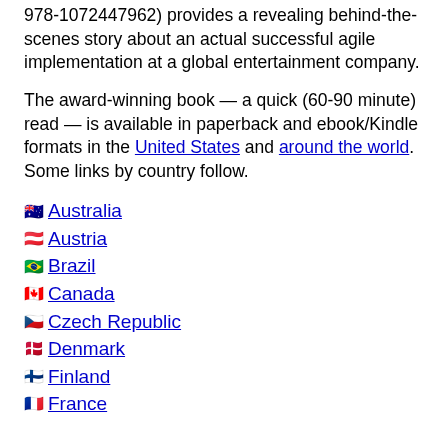978-1072447962) provides a revealing behind-the-scenes story about an actual successful agile implementation at a global entertainment company.
The award-winning book — a quick (60-90 minute) read — is available in paperback and ebook/Kindle formats in the United States and around the world. Some links by country follow.
🇦🇺 Australia
🇦🇹 Austria
🇧🇷 Brazil
🇨🇦 Canada
🇨🇿 Czech Republic
🇩🇰 Denmark
🇫🇮 Finland
🇫🇷 France